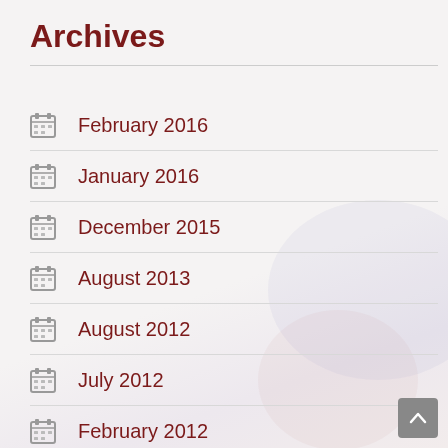Archives
February 2016
January 2016
December 2015
August 2013
August 2012
July 2012
February 2012
December 2011
November 2011